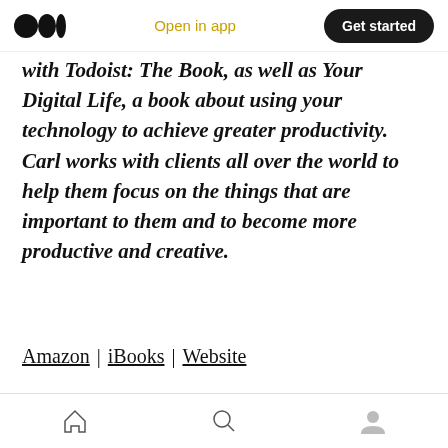Open in app | Get started
with Todoist: The Book, as well as Your Digital Life, a book about using your technology to achieve greater productivity. Carl works with clients all over the world to help them focus on the things that are important to them and to become more productive and creative.
Amazon | iBooks | Website
39 [clap icon] [comment icon] [share icon] [bookmark icon]